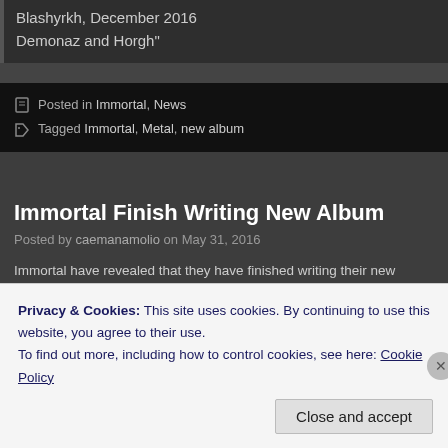Blashyrkh, December 2016
Demonaz and Horgh"
Posted in Immortal, News
Tagged Immortal, Metal, new album
Immortal Finish Writing New Album
Posted by caemanamolio on May 31, 2016
Immortal have revealed that they have finished writing their new album. Deme lead vocals for the effort, which you can read more about below. Interestingly mentions Abbath's solo album, which the band claims is composed of tracks s
Privacy & Cookies: This site uses cookies. By continuing to use this website, you agree to their use.
To find out more, including how to control cookies, see here: Cookie Policy
Close and accept